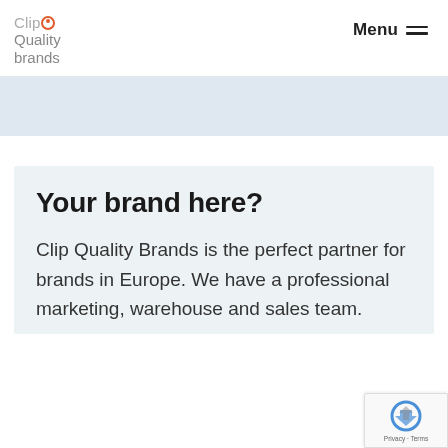[Figure (logo): Clip Quality Brands logo with orange circle icon, grey text reading Clip Quality brands stacked on three lines]
Menu ≡
[Figure (illustration): Light blue horizontal banner strip]
Your brand here?
Clip Quality Brands is the perfect partner for brands in Europe. We have a professional marketing, warehouse and sales team.
[Figure (logo): Google reCAPTCHA badge with blue/grey arrow icon and Privacy - Terms text]